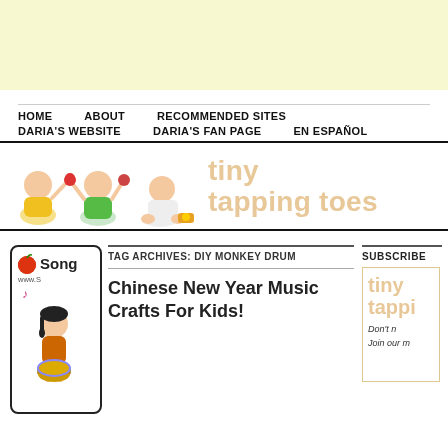[Figure (other): Light yellow advertisement banner at the top of the page]
HOME   ABOUT   RECOMMENDED SITES   DARIA'S WEBSITE   DARIA'S FAN PAGE   EN ESPAÑOL
[Figure (illustration): Three babies/toddlers playing with musical instruments next to the 'tiny tapping toes' site logo text in light peach/orange color]
[Figure (illustration): Song widget box with apple icon and a cartoon girl playing a drum]
TAG ARCHIVES: DIY MONKEY DRUM
Chinese New Year Music Crafts For Kids!
SUBSCRIBE
[Figure (logo): tiny tappi... widget with italic text 'Don't n' and 'Join our m']